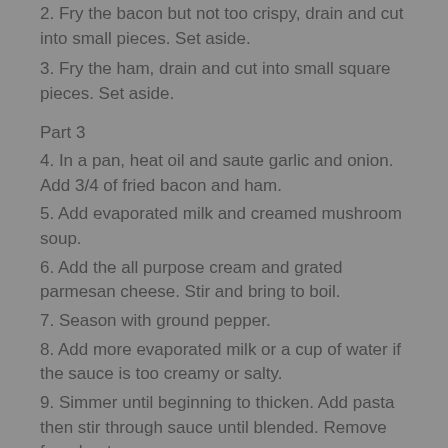2. Fry the bacon but not too crispy, drain and cut into small pieces. Set aside.
3. Fry the ham, drain and cut into small square pieces. Set aside.
Part 3
4. In a pan, heat oil and saute garlic and onion. Add 3/4 of fried bacon and ham.
5. Add evaporated milk and creamed mushroom soup.
6. Add the all purpose cream and grated parmesan cheese. Stir and bring to boil.
7. Season with ground pepper.
8. Add more evaporated milk or a cup of water if the sauce is too creamy or salty.
9. Simmer until beginning to thicken. Add pasta then stir through sauce until blended. Remove from heat.
10. In a pasta tray, top with grated Parmesan cheese together with the remaining bacon and ham bits and chopped parsley. Serve.